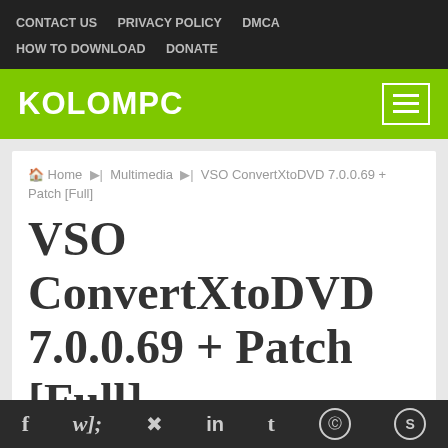CONTACT US  PRIVACY POLICY  DMCA  HOW TO DOWNLOAD  DONATE
KOLOMPC
Home › Multimedia › VSO ConvertXtoDVD 7.0.0.69 + Patch [Full]
VSO ConvertXtoDVD 7.0.0.69 + Patch [Full]
f  twitter  pinterest  in  t  reddit  skype